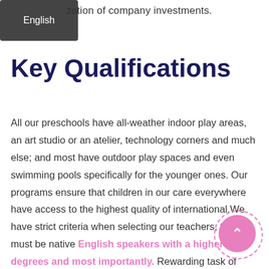zation of company investments.
Key Qualifications
All our preschools have all-weather indoor play areas, an art studio or an atelier, technology corners and much else; and most have outdoor play spaces and even swimming pools specifically for the younger ones. Our programs ensure that children in our care everywhere have access to the highest quality of international.We have strict criteria when selecting our teachers; they must be native English speakers with a higher degrees and most importantly. Rewarding task of instructing young children between the ages of 5 and 6 years old